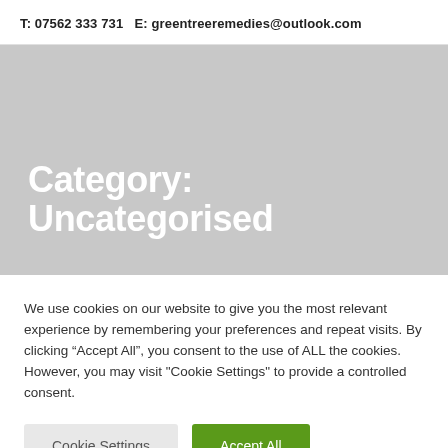T: 07562 333 731   E: greentreeremedies@outlook.com
Category: Uncategorised
We use cookies on our website to give you the most relevant experience by remembering your preferences and repeat visits. By clicking “Accept All”, you consent to the use of ALL the cookies. However, you may visit "Cookie Settings" to provide a controlled consent.